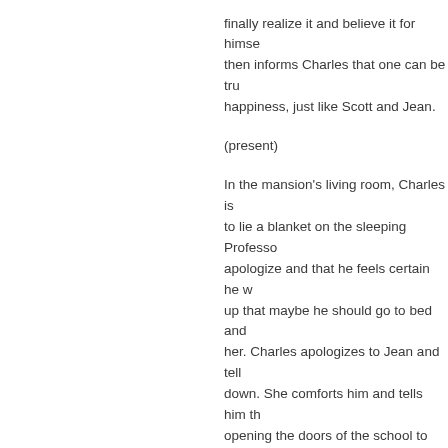finally realize it and believe it for himself. She then informs Charles that one can be truly happy, just like Scott and Jean.
(present)
In the mansion's living room, Charles is asked to lie a blanket on the sleeping Professor, apologize and that he feels certain he will make up that maybe he should go to bed and her. Charles apologizes to Jean and tells him that down. She comforts him and tells him that opening the doors of the school to Sabr ever possibly let her down. She remarks of the X-Men and asks him where they v debt to which they owe him.
Xavier tells Jean that there is something knows he is referring to her upcoming w promise to love him forever because tha they continue to fight for every day - the wants to make sure that there is no furth